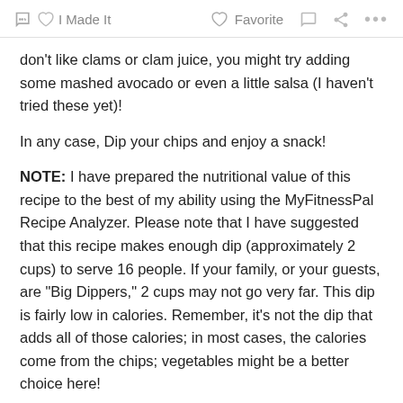✋ I Made It   ♡ Favorite   💬   ⋮⋮⋮
don't like clams or clam juice, you might try adding some mashed avocado or even a little salsa (I haven't tried these yet)!
In any case, Dip your chips and enjoy a snack!
NOTE: I have prepared the nutritional value of this recipe to the best of my ability using the MyFitnessPal Recipe Analyzer. Please note that I have suggested that this recipe makes enough dip (approximately 2 cups) to serve 16 people. If your family, or your guests, are "Big Dippers," 2 cups may not go very far. This dip is fairly low in calories. Remember, it's not the dip that adds all of those calories; in most cases, the calories come from the chips; vegetables might be a better choice here!